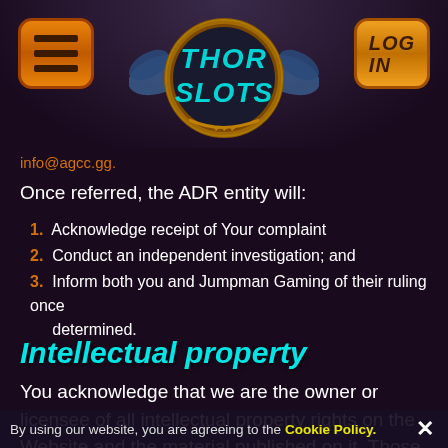[Figure (logo): Thor Slots casino logo with Norse/Viking theme — circular medallion with 'THOR SLOTS' text in teal/cyan, bronze wings and decorative elements. Orange square menu button on left, orange square LOG IN button on right.]
info@agcc.gg.
Once referred, the ADR entity will:
Acknowledge receipt of Your complaint
Conduct an independent investigation; and
Inform both you and Jumpman Gaming of their ruling once determined.
Intellectual property
You acknowledge that we are the owner or licensee of all intellectual property rights on the Website and the material published on it. Those works are protected by copyright laws and treaties around the world and all rights relating to the same are reserved.
By using our website, you are agreeing to the Cookie Policy.